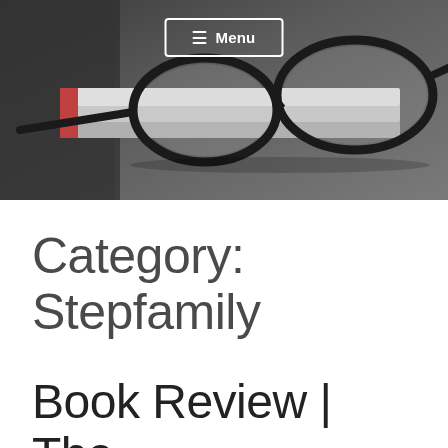[Figure (photo): Photograph of eyeglasses resting on top of stacked books, dark blurred background, muted tones of gray and dark brown]
≡ Menu
Category: Stepfamily
Book Review | The